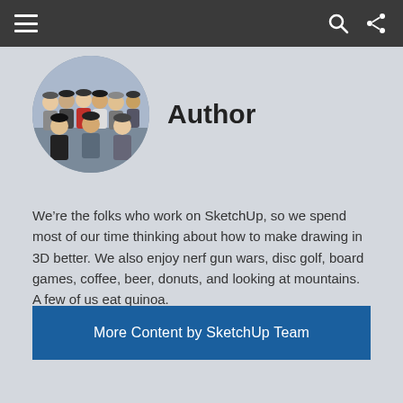Author
[Figure (illustration): Circular avatar image showing an illustrated group of people standing together]
We’re the folks who work on SketchUp, so we spend most of our time thinking about how to make drawing in 3D better. We also enjoy nerf gun wars, disc golf, board games, coffee, beer, donuts, and looking at mountains. A few of us eat quinoa.
More Content by SketchUp Team